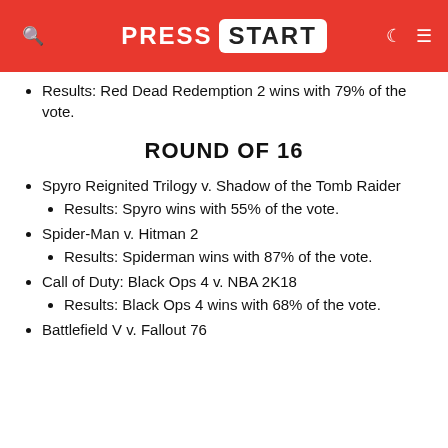PRESS START
Results: Red Dead Redemption 2 wins with 79% of the vote.
ROUND OF 16
Spyro Reignited Trilogy v. Shadow of the Tomb Raider
Results: Spyro wins with 55% of the vote.
Spider-Man v. Hitman 2
Results: Spiderman wins with 87% of the vote.
Call of Duty: Black Ops 4 v. NBA 2K18
Results: Black Ops 4 wins with 68% of the vote.
Battlefield V v. Fallout 76